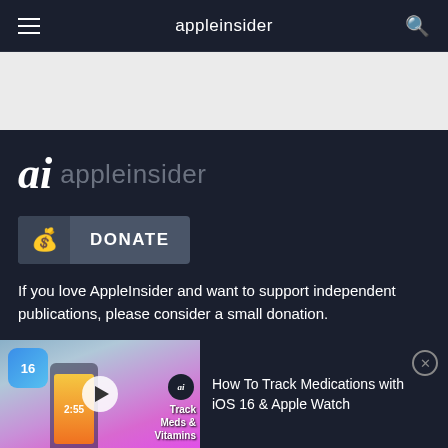appleinsider
[Figure (other): Advertisement/banner space - light gray area]
[Figure (logo): AppleInsider logo - 'ai' in bold italic with 'appleinsider' text]
DONATE
If you love AppleInsider and want to support independent publications, please consider a small donation.
[Figure (screenshot): Video thumbnail showing iOS 16 medications tracking video with phone, pills, Track Meds & Vitamins text, and AI badge]
How To Track Medications with iOS 16 & Apple Watch